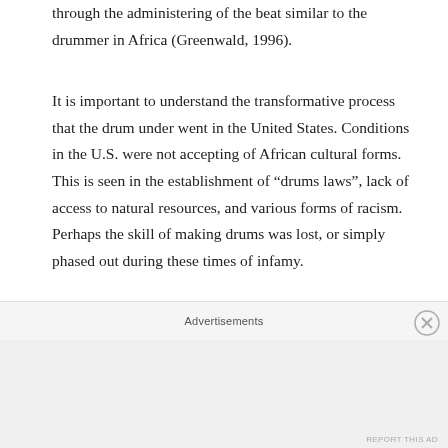through the administering of the beat similar to the drummer in Africa (Greenwald, 1996).
It is important to understand the transformative process that the drum under went in the United States. Conditions in the U.S. were not accepting of African cultural forms. This is seen in the establishment of “drums laws”, lack of access to natural resources, and various forms of racism. Perhaps the skill of making drums was lost, or simply phased out during these times of infamy.
Advertisements